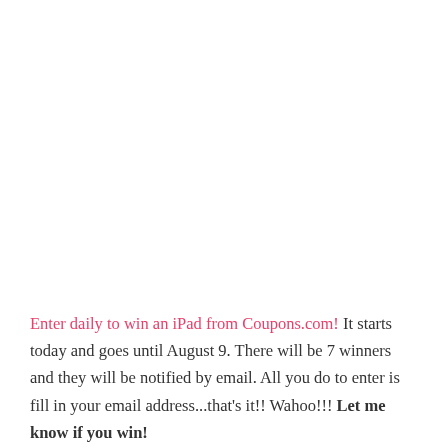Enter daily to win an iPad from Coupons.com!  It starts today and goes until August 9.  There will be 7 winners and they will be notified by email.  All you do to enter is fill in your email address...that's it!!  Wahoo!!!  Let me know if you win!
Coupons.com is a GREAT website for coupons!!  After you enter